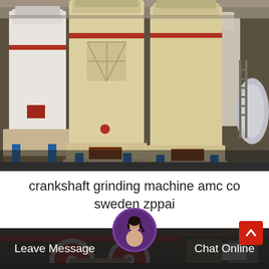[Figure (photo): Industrial grinding machines (large cylindrical mills, cream/yellow color) in a factory setting with blue support stands and red accents, viewed from ground level inside a warehouse.]
crankshaft grinding machine amc co sweden zppai
[Figure (photo): Industrial factory interior showing large red and white grinding/mill machinery with a chat overlay bar at the bottom including a customer service avatar, Leave Message and Chat Online buttons, and a red up-arrow button.]